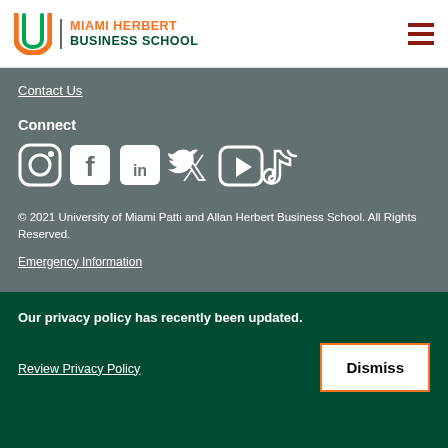[Figure (logo): University of Miami Hurricane U logo with Miami Herbert Business School text]
Contact Us
Connect
[Figure (illustration): Social media icons: Instagram, Facebook, LinkedIn, Twitter, YouTube, TikTok]
© 2021 University of Miami Patti and Allan Herbert Business School. All Rights Reserved.
Emergency Information
Our privacy policy has recently been updated.
Review Privacy Policy
Dismiss